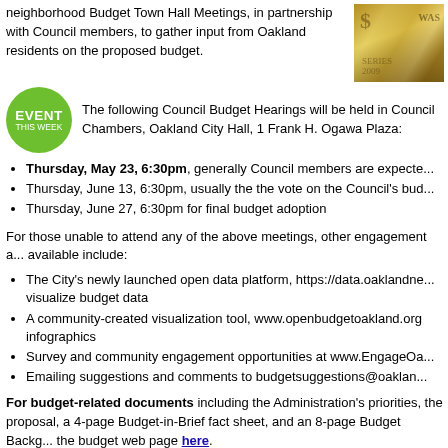neighborhood Budget Town Hall Meetings, in partnership with Council members, to gather input from Oakland residents on the proposed budget.
[Figure (photo): Photo of US currency / dollar bills]
The following Council Budget Hearings will be held in Council Chambers, Oakland City Hall, 1 Frank H. Ogawa Plaza:
Thursday, May 23, 6:30pm, generally Council members are expected...
Thursday, June 13, 6:30pm, usually the the vote on the Council's bud...
Thursday, June 27, 6:30pm for final budget adoption
For those unable to attend any of the above meetings, other engagement available include:
The City's newly launched open data platform, https://data.oaklandne... visualize budget data
A community-created visualization tool, www.openbudgetoakland.org infographics
Survey and community engagement opportunities at www.EngageOa...
Emailing suggestions and comments to budgetsuggestions@oaklan...
For budget-related documents including the Administration's priorities, the proposal, a 4-page Budget-in-Brief fact sheet, and an 8-page Budget Backg... the budget web page here.
For more info: Sean Maher, Communications Director, Office of the Mayor 238-7439 or Karen Boyd, Citywide Communications Director, Office of the C... kboyd@oaklandnet.com or 238-6365